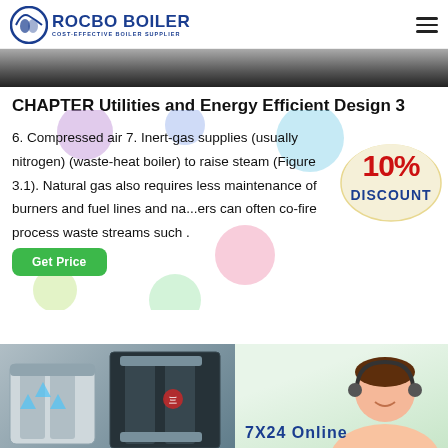ROCBO BOILER — COST-EFFECTIVE BOILER SUPPLIER
[Figure (photo): Dark hero banner image at top of page]
CHAPTER Utilities and Energy Efficient Design 3
6. Compressed air 7. Inert-gas supplies (usually nitrogen) (waste-heat boiler) to raise steam (Figure 3.1). Natural gas also requires less maintenance of burners and fuel lines and na...ers can often co-fire process waste streams such .
[Figure (infographic): 10% DISCOUNT promotional badge overlay on right side]
[Figure (photo): Green Get Price button]
[Figure (photo): Bottom strip showing boiler equipment on the left and a customer service representative with headset on the right, with '7X24 Online' text]